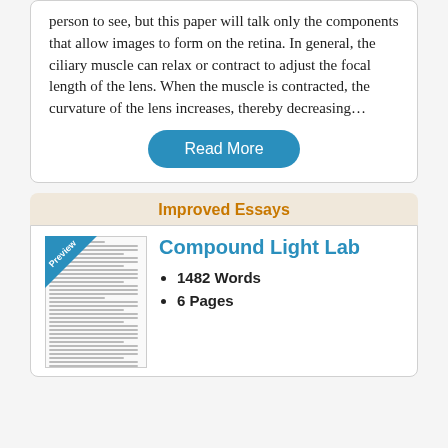person to see, but this paper will talk only the components that allow images to form on the retina. In general, the ciliary muscle can relax or contract to adjust the focal length of the lens. When the muscle is contracted, the curvature of the lens increases, thereby decreasing…
Read More
Improved Essays
[Figure (other): Preview thumbnail of a document page with a blue diagonal 'Preview' badge in the top-left corner]
Compound Light Lab
1482 Words
6 Pages